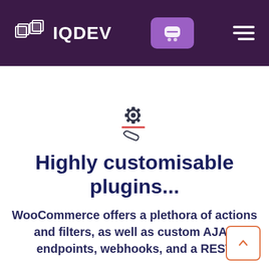IQDEV
[Figure (logo): IQDEV logo with cube icon on dark purple header background, with purple cart button and hamburger menu icon]
[Figure (illustration): Settings gear icon with wrench tool icon below a red line, centered on white background]
Highly customisable plugins...
WooCommerce offers a plethora of actions and filters, as well as custom AJAX endpoints, webhooks, and a REST